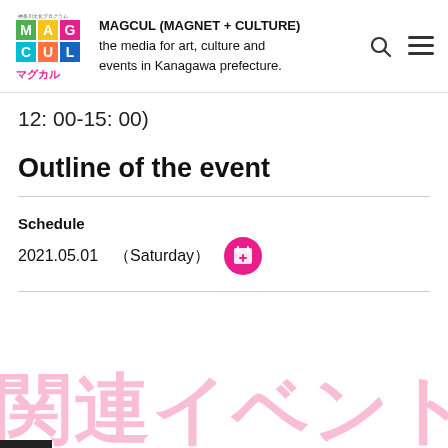[Figure (logo): MAGCUL logo - colorful geometric squares with Japanese text マグカル]
MAGCUL (MAGNET + CULTURE)
the media for art, culture and events in Kanagawa prefecture.
12: 00-15: 00)
Outline of the event
Schedule
2021.05.01（Saturday）
[Figure (illustration): Pink circular calendar add button icon]
関連イベント